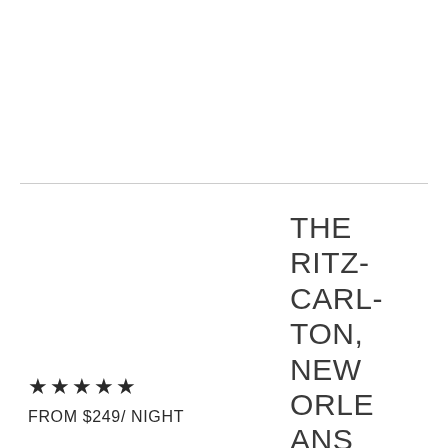THE RITZ-CARLTON, NEW ORLEANS
★★★★★
FROM $249/ NIGHT